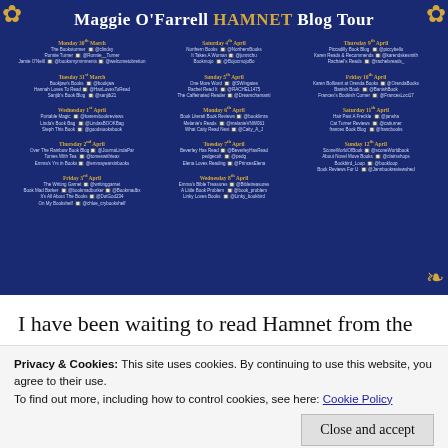[Figure (infographic): Maggie O'Farrell HAMNET Blog Tour schedule on dark blue background with gold leaf decorations, listing blog stops by date from Monday 30th March through Sunday 12th April across three columns.]
I have been waiting to read Hamnet from the moment I first noticed the amazing cover and read
Privacy & Cookies: This site uses cookies. By continuing to use this website, you agree to their use.
To find out more, including how to control cookies, see here: Cookie Policy
Close and accept
very short space of time I was delighted to be